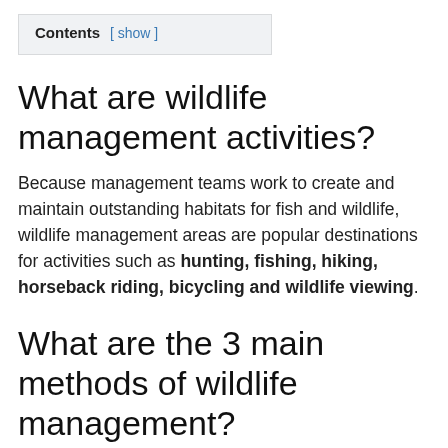Contents [ show ]
What are wildlife management activities?
Because management teams work to create and maintain outstanding habitats for fish and wildlife, wildlife management areas are popular destinations for activities such as hunting, fishing, hiking, horseback riding, bicycling and wildlife viewing.
What are the 3 main methods of wildlife management?